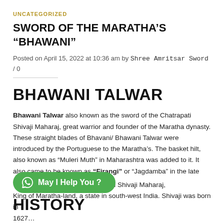UNCATEGORIZED
SWORD OF THE MARATHA’S “BHAWANI”
Posted on April 15, 2022 at 10:36 am by Shree Amritsar Sword / 0
BHAWANI TALWAR
Bhawani Talwar also known as the sword of the Chatrapati Shivaji Maharaj, great warrior and founder of the Maratha dynasty. These straight blades of Bhavani/ Bhawani Talwar were introduced by the Portuguese to the Maratha’s. The basket hilt, also known as “Muleri Muth” in Maharashtra was added to it. It also came to be known as “Firangi” or “Jagdamba” in the late medieval periods.
HISTORY
T... to Chatrapati Shivaji Maharaj, King of Maratha-land, a state in south-west India. Shivaji was born in 1627...